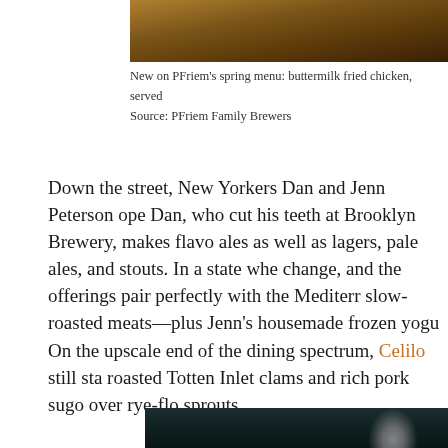[Figure (photo): Top portion of a food/animal photo, appears to show brown fur or fried food, partially cropped at top of page]
New on PFriem's spring menu: buttermilk fried chicken, served
Source: PFriem Family Brewers
Down the street, New Yorkers Dan and Jenn Peterson ope… Dan, who cut his teeth at Brooklyn Brewery, makes flavo… ales as well as lagers, pale ales, and stouts. In a state whe… change, and the offerings pair perfectly with the Mediterr… slow-roasted meats—plus Jenn's housemade frozen yogu…
On the upscale end of the dining spectrum, Celilo still sta… roasted Totten Inlet clams and rich pork sugo over rye-flo… sprouts.
[Figure (photo): Dark restaurant or dining scene photo, dark teal/black background with what appears to be a glass or bowl partially visible at bottom right]